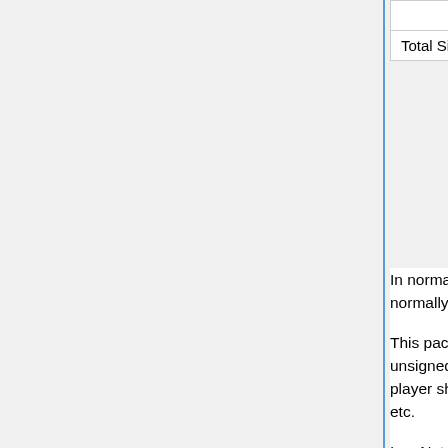|  |  | byte | 0 - 16 |
| --- | --- | --- | --- |
|  | Cursor position Z | byte | 0 - 16 |
| Total Size: | 14 bytes + slot data |  |  |
In normal operation (ie placing a block), this packet is sent once, with the values set normally.
This packet has a special case where X, Y, Z, and Direction are all -1. (Note that Y is unsigned so set to 255.) This special packet indicates that the currently held item for the player should have its state updated such as eating food, shooting bows, using buckets, etc.
In a Notchian Beta client, the block or item ID corresponds to whatever the client is currently holding, and the client sends one of these packets any time a